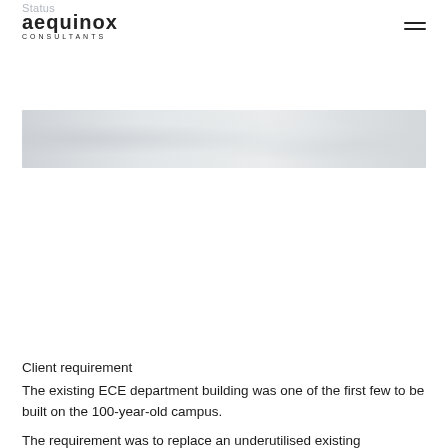Status
[Figure (logo): Aequinox Consultants logo with hamburger menu icon]
[Figure (photo): A wide horizontal banner photo, mostly greyed out, appearing to show a campus or outdoor scene]
Client requirement
The existing ECE department building was one of the first few to be built on the 100-year-old campus.
The requirement was to replace an underutilised existing